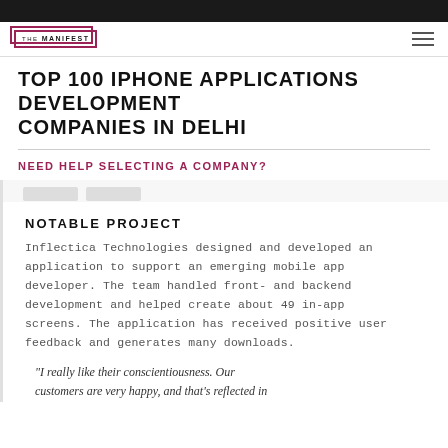THE MANIFEST
TOP 100 IPHONE APPLICATIONS DEVELOPMENT COMPANIES IN DELHI
NEED HELP SELECTING A COMPANY?
NOTABLE PROJECT
Inflectica Technologies designed and developed an application to support an emerging mobile app developer. The team handled front- and backend development and helped create about 49 in-app screens. The application has received positive user feedback and generates many downloads.
“I really like their conscientiousness. Our customers are very happy, and that’s reflected in